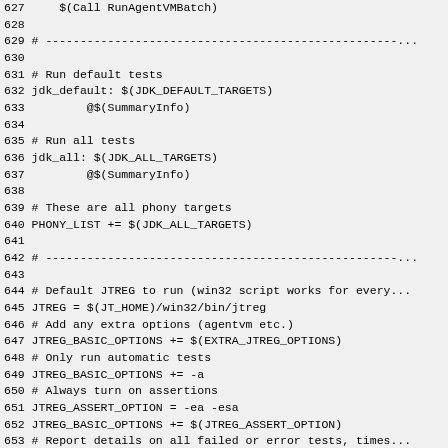627     $(Call RunAgentVMBatch)
628
629 # ---...
630
631 # Run default tests
632 jdk_default: $(JDK_DEFAULT_TARGETS)
633         @$(SummaryInfo)
634
635 # Run all tests
636 jdk_all: $(JDK_ALL_TARGETS)
637         @$(SummaryInfo)
638
639 # These are all phony targets
640 PHONY_LIST += $(JDK_ALL_TARGETS)
641
642 # ---...
643
644 # Default JTREG to run (win32 script works for every...
645 JTREG = $(JT_HOME)/win32/bin/jtreg
646 # Add any extra options (agentvm etc.)
647 JTREG_BASIC_OPTIONS += $(EXTRA_JTREG_OPTIONS)
648 # Only run automatic tests
649 JTREG_BASIC_OPTIONS += -a
650 # Always turn on assertions
651 JTREG_ASSERT_OPTION = -ea -esa
652 JTREG_BASIC_OPTIONS += $(JTREG_ASSERT_OPTION)
653 # Report details on all failed or error tests, times...
654 JTREG_BASIC_OPTIONS += -v:fail,error,time
655 # Retain all files for failing tests
656 JTREG_BASIC_OPTIONS += -retain:fail,error
657 # ...